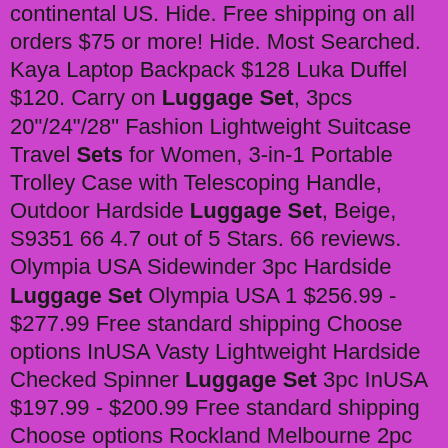continental US. Hide. Free shipping on all orders $75 or more! Hide. Most Searched. Kaya Laptop Backpack $128 Luka Duffel $120. Carry on Luggage Set, 3pcs 20"/24"/28" Fashion Lightweight Suitcase Travel Sets for Women, 3-in-1 Portable Trolley Case with Telescoping Handle, Outdoor Hardside Luggage Set, Beige, S9351 66 4.7 out of 5 Stars. 66 reviews. Olympia USA Sidewinder 3pc Hardside Luggage Set Olympia USA 1 $256.99 - $277.99 Free standard shipping Choose options InUSA Vasty Lightweight Hardside Checked Spinner Luggage Set 3pc InUSA $197.99 - $200.99 Free standard shipping Choose options Rockland Melbourne 2pc ABS Hardside Carry On Spinner Luggage Set Rockland 123 +2 options. Discover the latest Samsonite travel luggage. Order online suitcases, travel bags, backpacks and laptop bags. Find your local Samsonite store and favorite bag. HIWARE Straw Cleaner Brush Set, 8-Piece Long Cleaning Brush for Straws on Tumbler, Water Bottle, Sippy Cup, and Pipes, Tubes or Hummingbird Feeders GFDesign Drinking Straw Cleaning Brushes Set 12" Extra Long 12mm Extra Wide Pipe Tube Cleaner Nylon Bristles Stainless Steel Handle - 12" x 1/2" (12mm) - Set of 4 Dec 21, 2018 · 🐃:water_buffalo: 🍼:baby_bottle: markdown. 2022. 2. 21. · The 16 Best Luggage Sets for Travel - Buyer's Guide [2022] Home › Travel. Lightweight and durable material. No outside pockets for quick access. Packing space expands up to 25%. Handle can be a little shaky. A 2-piece